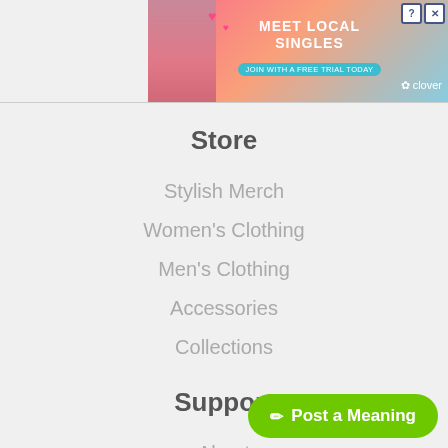[Figure (infographic): Advertisement banner for Clover dating app with text 'MEET LOCAL SINGLES', 'JOIN WITH A FREE TRIAL TODAY', and Clover logo. Shows a woman with hearts and pink/coral gradient background. Has close/info buttons.]
Store
Stylish Merch
Women's Clothing
Men's Clothing
Accessories
Collections
Support
About
Advertise
Contact Us